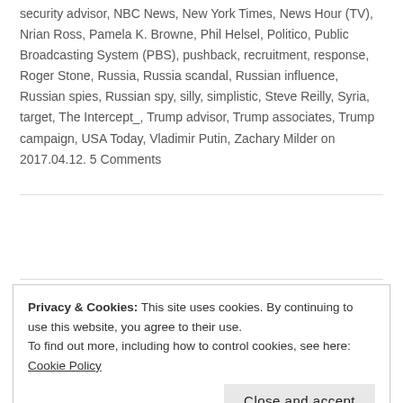security advisor, NBC News, New York Times, News Hour (TV), Nrian Ross, Pamela K. Browne, Phil Helsel, Politico, Public Broadcasting System (PBS), pushback, recruitment, response, Roger Stone, Russia, Russia scandal, Russian influence, Russian spies, Russian spy, silly, simplistic, Steve Reilly, Syria, target, The Intercept_, Trump advisor, Trump associates, Trump campaign, USA Today, Vladimir Putin, Zachary Milder on 2017.04.12. 5 Comments
Privacy & Cookies: This site uses cookies. By continuing to use this website, you agree to their use. To find out more, including how to control cookies, see here: Cookie Policy
Close and accept